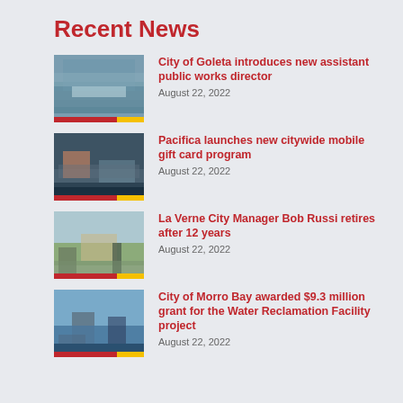Recent News
City of Goleta introduces new assistant public works director
August 22, 2022
Pacifica launches new citywide mobile gift card program
August 22, 2022
La Verne City Manager Bob Russi retires after 12 years
August 22, 2022
City of Morro Bay awarded $9.3 million grant for the Water Reclamation Facility project
August 22, 2022